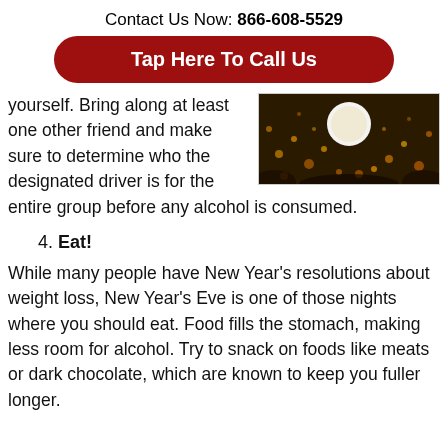Contact Us Now: 866-608-5529
Tap Here To Call Us
yourself. Bring along at least one other friend and make sure to determine who the designated driver is for the entire group before any alcohol is consumed.
[Figure (photo): Decorative image showing golden/orange sparkle lights or bokeh, possibly a New Year's Eve celebration visual]
4. Eat!
While many people have New Year's resolutions about weight loss, New Year's Eve is one of those nights where you should eat. Food fills the stomach, making less room for alcohol. Try to snack on foods like meats or dark chocolate, which are known to keep you fuller longer.